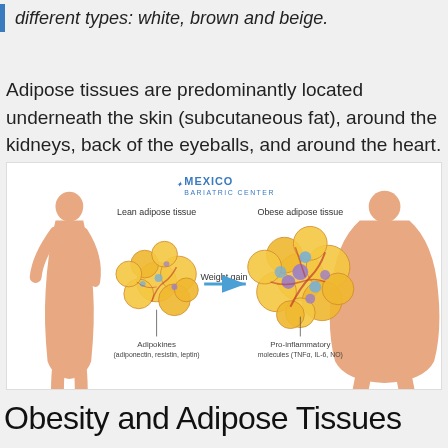different types: white, brown and beige.
Adipose tissues are predominantly located underneath the skin (subcutaneous fat), around the kidneys, back of the eyeballs, and around the heart.
[Figure (illustration): Medical illustration showing lean vs obese adipose tissue. Left side: silhouette of lean person. Center: diagram of lean adipose tissue (smaller cluster of fat cells) labeled 'Lean adipose tissue' with arrow labeled 'Weight gain' pointing right to 'Obese adipose tissue' (larger cluster with pro-inflammatory cells). Right side: silhouette of obese person. Labels: 'Adipokines (adiponectin, resistin, leptin)' under lean tissue; 'Pro-inflammatory molecules (TNFα, IL-6, NO)' under obese tissue. Mexico Bariatric Center logo at top center.]
Obesity and Adipose Tissues